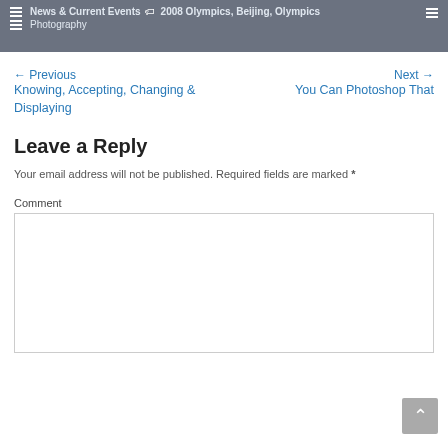News & Current Events  2008 Olympics, Beijing, Olympics Photography
← Previous
Knowing, Accepting, Changing & Displaying
Next →
You Can Photoshop That
Leave a Reply
Your email address will not be published. Required fields are marked *
Comment